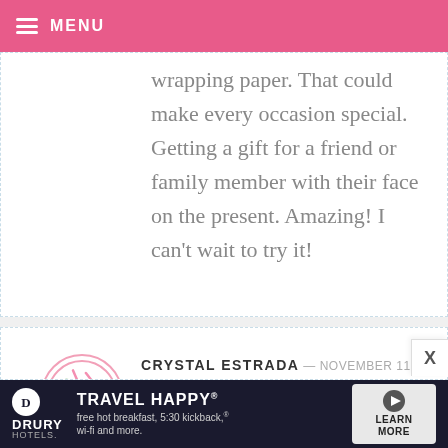MENU
wrapping paper. That could make every occasion special. Getting a gift for a friend or family member with their face on the present. Amazing! I can't wait to try it!
CRYSTAL ESTRADA — NOVEMBER 11, 2013 @ 2:16 AM REPLY
I love both the pink and green, I can't decide! I would love to put pictures of the family onto wrapping paper and
[Figure (infographic): Drury Hotels advertisement banner: TRAVEL HAPPY, free hot breakfast, 5:30 kickback, wi-fi and more. LEARN MORE button.]